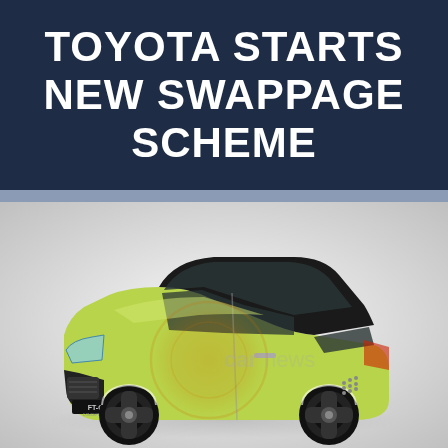TOYOTA STARTS NEW SWAPPAGE SCHEME
[Figure (photo): A yellow-green Toyota FT-CH concept car on a grey gradient background. The compact hatchback has a black roof, large dark windows, distinctive multi-spoke black wheels, and a front license plate area reading FT-CH.]